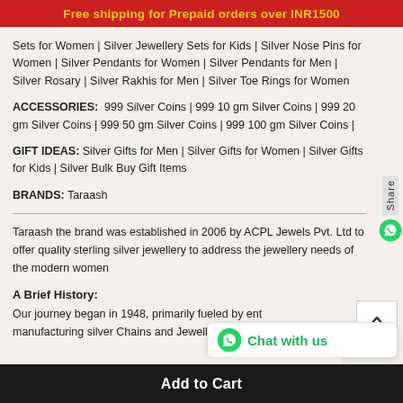Free shipping for Prepaid orders over INR1500
Sets for Women | Silver Jewellery Sets for Kids | Silver Nose Pins for Women | Silver Pendants for Women | Silver Pendants for Men | Silver Rosary | Silver Rakhis for Men | Silver Toe Rings for Women
ACCESSORIES: 999 Silver Coins | 999 10 gm Silver Coins | 999 20 gm Silver Coins | 999 50 gm Silver Coins | 999 100 gm Silver Coins |
GIFT IDEAS: Silver Gifts for Men | Silver Gifts for Women | Silver Gifts for Kids | Silver Bulk Buy Gift Items
BRANDS: Taraash
Taraash the brand was established in 2006 by ACPL Jewels Pvt. Ltd to offer quality sterling silver jewellery to address the jewellery needs of the modern women
A Brief History:
Our journey began in 1948, primarily fueled by ent manufacturing silver Chains and Jewellery for th
Add to Cart